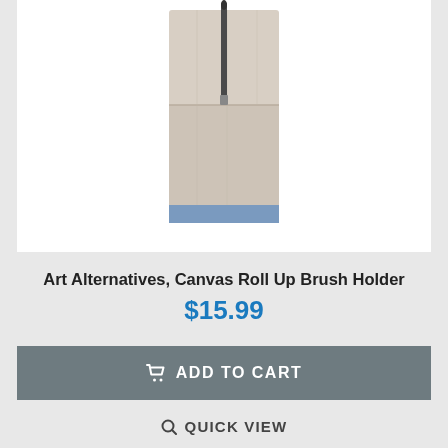[Figure (photo): A canvas roll-up brush holder in a beige/natural linen color with a blue stripe at the bottom, shown unrolled and holding a single paintbrush in one of the pockets. The holder is displayed vertically against a white background.]
Art Alternatives, Canvas Roll Up Brush Holder
$15.99
ADD TO CART
QUICK VIEW